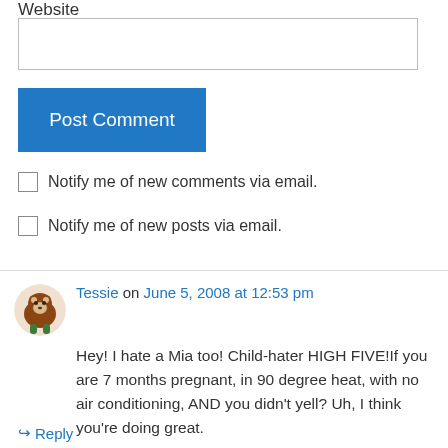Website
Post Comment
Notify me of new comments via email.
Notify me of new posts via email.
Tessie on June 5, 2008 at 12:53 pm
Hey! I hate a Mia too! Child-hater HIGH FIVE!If you are 7 months pregnant, in 90 degree heat, with no air conditioning, AND you didn't yell? Uh, I think you're doing great.
Reply